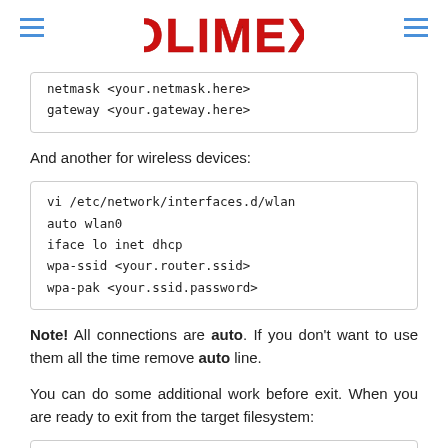OLIMEX
netmask <your.netmask.here>
    gateway <your.gateway.here>
And another for wireless devices:
vi /etc/network/interfaces.d/wlan
auto wlan0
iface lo inet dhcp
wpa-ssid <your.router.ssid>
wpa-pak <your.ssid.password>
Note! All connections are auto. If you don't want to use them all the time remove auto line.
You can do some additional work before exit. When you are ready to exit from the target filesystem: